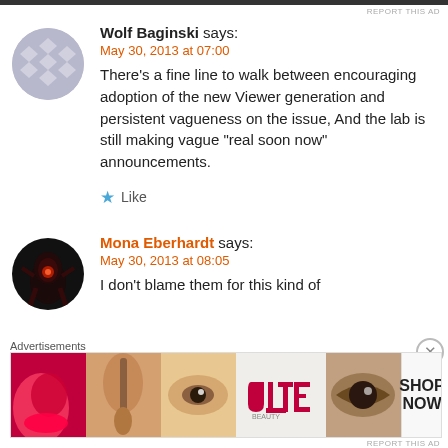REPORT THIS AD
Wolf Baginski says:
May 30, 2013 at 07:00
There’s a fine line to walk between encouraging adoption of the new Viewer generation and persistent vagueness on the issue, And the lab is still making vague “real soon now” announcements.
★ Like
Mona Eberhardt says:
May 30, 2013 at 08:05
I don’t blame them for this kind of
Advertisements
[Figure (screenshot): Ulta beauty advertisement banner with makeup imagery and 'SHOP NOW' call to action]
REPORT THIS AD